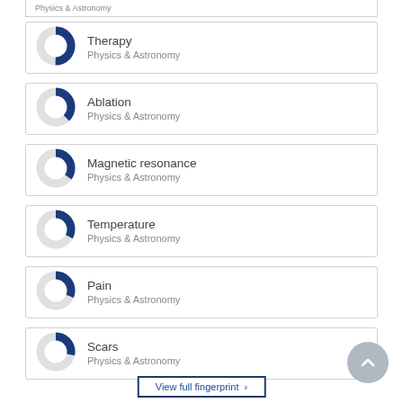Physics & Astronomy (top bar)
Therapy — Physics & Astronomy
Ablation — Physics & Astronomy
Magnetic resonance — Physics & Astronomy
Temperature — Physics & Astronomy
Pain — Physics & Astronomy
Scars — Physics & Astronomy
View full fingerprint ›